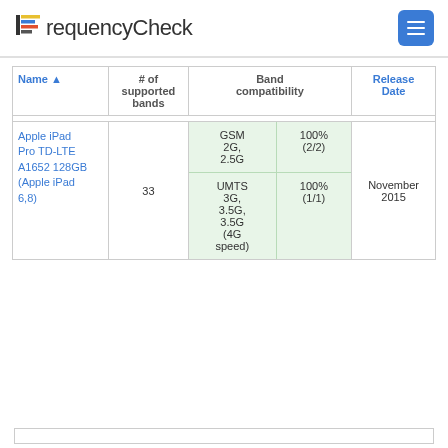FrequencyCheck
| Name ▲ | # of supported bands | Band compatibility | Release Date |
| --- | --- | --- | --- |
| Apple iPad Pro TD-LTE A1652 128GB (Apple iPad 6,8) | 33 | GSM 2G, 2.5G 100% (2/2) | UMTS 3G, 3.5G, 3.5G (4G speed) 100% (1/1) | November 2015 |